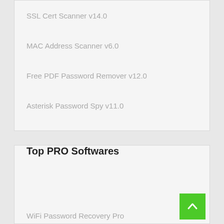SSL Cert Scanner v14.0
MAC Address Scanner v6.0
Free PDF Password Remover v12.0
Asterisk Password Spy v11.0
Top PRO Softwares
WiFi Password Recovery Pro